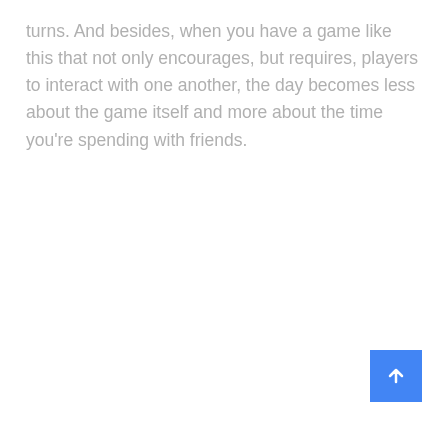turns. And besides, when you have a game like this that not only encourages, but requires, players to interact with one another, the day becomes less about the game itself and more about the time you're spending with friends.
[Figure (other): Blue square button with a white upward-pointing arrow, positioned in the bottom-right corner of the page.]